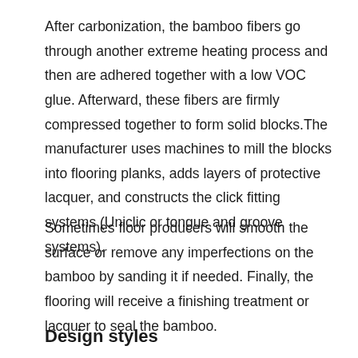After carbonization, the bamboo fibers go through another extreme heating process and then are adhered together with a low VOC glue. Afterward, these fibers are firmly compressed together to form solid blocks.The manufacturer uses machines to mill the blocks into flooring planks, adds layers of protective lacquer, and constructs the click fitting systems (Uniclic or tongue and groove systems).
Sometimes floor producers will smooth the surface or remove any imperfections on the bamboo by sanding it if needed. Finally, the flooring will receive a finishing treatment or lacquer to seal the bamboo.
Design styles